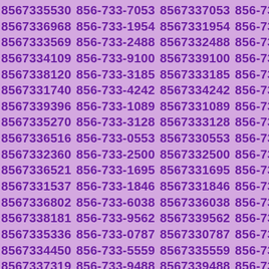8567335530 856-733-7053 8567337053 856-733-6968 8567336968 856-733-1954 8567331954 856-733-3569 8567333569 856-733-2488 8567332488 856-733-4109 8567334109 856-733-9100 8567339100 856-733-8120 8567338120 856-733-3185 8567333185 856-733-1740 8567331740 856-733-4242 8567334242 856-733-9396 8567339396 856-733-1089 8567331089 856-733-5270 8567335270 856-733-3128 8567333128 856-733-6516 8567336516 856-733-0553 8567330553 856-733-2360 8567332360 856-733-2500 8567332500 856-733-6521 8567336521 856-733-1695 8567331695 856-733-1537 8567331537 856-733-1846 8567331846 856-733-6802 8567336802 856-733-6038 8567336038 856-733-8181 8567338181 856-733-9562 8567339562 856-733-5336 8567335336 856-733-0787 8567330787 856-733-4450 8567334450 856-733-5559 8567335559 856-733-7319 8567337319 856-733-9488 8567339488 856-733-0520 8567330520 856-733-2260 8567332260 856-733-4745 8567334745 856-733-0508 8567330508 856-733-7025 8567337025 856-733-5299 8567335299 856-733-4309 8567334309 856-733-9001 8567339001 856-733-4409